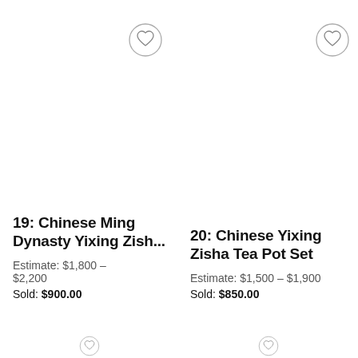[Figure (illustration): Circular heart/favorite button icon, top of left auction item card]
19: Chinese Ming Dynasty Yixing Zish...
Estimate: $1,800 - $2,200
Sold: $900.00
[Figure (illustration): Circular heart/favorite button icon, top of right auction item card]
20: Chinese Yixing Zisha Tea Pot Set
Estimate: $1,500 - $1,900
Sold: $850.00